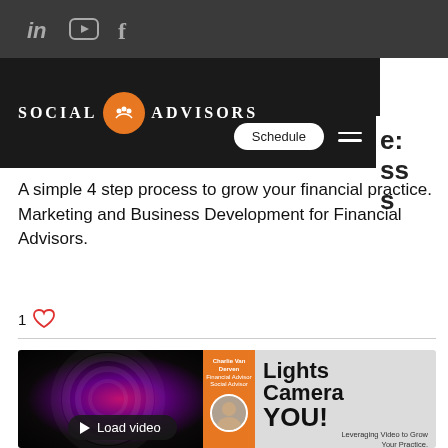[Figure (screenshot): Top dark navigation bar with LinkedIn, YouTube, and Facebook social media icons in grey, and a three-dot menu on the right]
[Figure (logo): Social Advisors logo on black background with orange circle icon, Schedule button, and hamburger menu. Partial text visible on right: 'e:', 'ss', 's']
A simple 4 step process to grow your financial practice. Marketing and Business Development for Financial Advisors.
1 ♡
[Figure (screenshot): Video thumbnail for 'Lights Camera YOU! Leveraging Video to Grow Your Practice.' featuring Charlie Van Derven, with a camera lens background and a Load video button overlay]